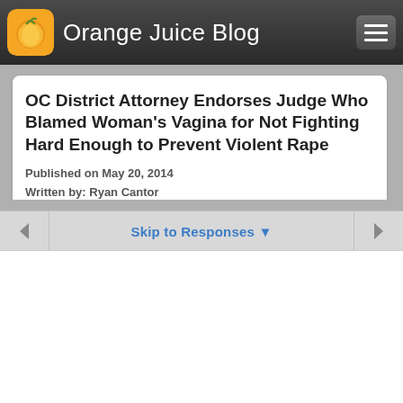Orange Juice Blog
OC District Attorney Endorses Judge Who Blamed Woman's Vagina for Not Fighting Hard Enough to Prevent Violent Rape
Published on May 20, 2014
Written by: Ryan Cantor
Skip to Responses ▼